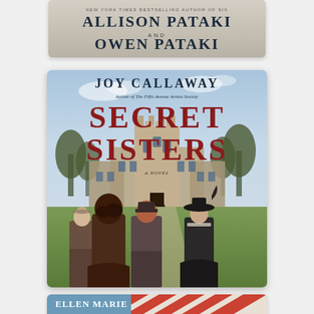[Figure (illustration): Book cover showing 'NEW YORK TIMES BESTSELLING AUTHOR OF SIX' with authors ALLISON PATAKI AND OWEN PATAKI on a beige/taupe background]
[Figure (illustration): Book cover for 'Secret Sisters' by Joy Callaway, author of The Fifth Avenue Artists Society. Large dark red serif title text. Four women in dark Victorian-era dresses seen from behind, facing a Gothic university building. Sky background.]
[Figure (illustration): Partial book cover for a book by Ellen Marie Wiseman, showing red and white circus tent stripes on a blue sky background.]